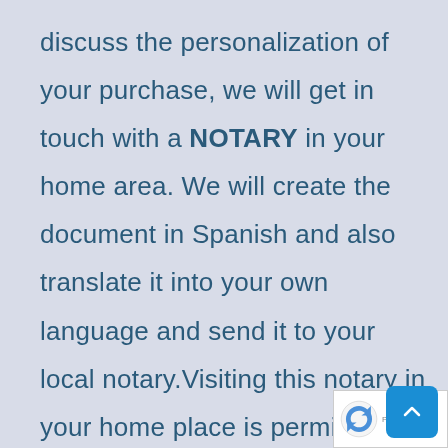discuss the personalization of your purchase, we will get in touch with a NOTARY in your home area. We will create the document in Spanish and also translate it into your own language and send it to your local notary.Visiting this notary in your home place is permitted under rules of Lockdown. Once with the notary, you will show your original passport and the signed POA, plus notarized